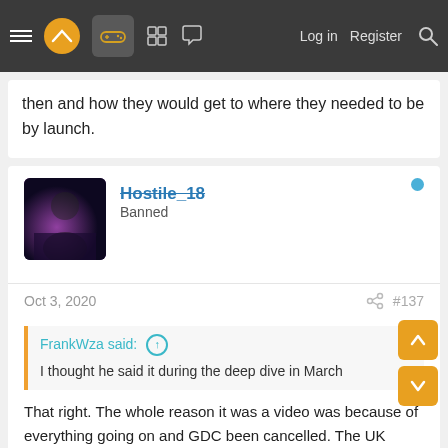Navigation bar with menu, logo, controller icon, board icon, chat icon, Log in, Register, Search
then and how they would get to where they needed to be by launch.
Hostile_18 — Banned
Oct 3, 2020  #137
FrankWza said: ↑  I thought he said it during the deep dive in March
That right. The whole reason it was a video was because of everything going on and GDC been cancelled. The UK where I am was just entering its lockdown.
I wouldn't have thought a tech tear down would be effected by covid-19 tbh. At this rate we will have a youtuber doing it